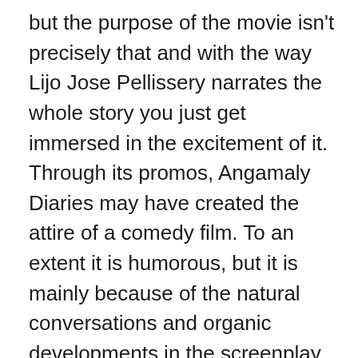but the purpose of the movie isn't precisely that and with the way Lijo Jose Pellissery narrates the whole story you just get immersed in the excitement of it.
Through its promos, Angamaly Diaries may have created the attire of a comedy film. To an extent it is humorous, but it is mainly because of the natural conversations and organic developments in the screenplay. The inner games of the gangster rivalry and thickness and thinness of the anger in those equations gets depicted very skillfully. Lijo has this